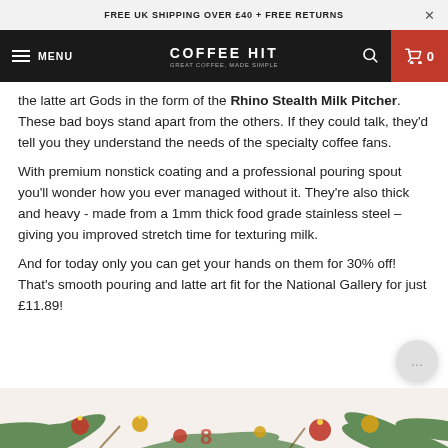FREE UK SHIPPING OVER £40 + FREE RETURNS
COFFEE HIT — GREAT COFFEE, MADE SIMPLE
the latte art Gods in the form of the Rhino Stealth Milk Pitcher. These bad boys stand apart from the others. If they could talk, they'd tell you they understand the needs of the specialty coffee fans.
With premium nonstick coating and a professional pouring spout you'll wonder how you ever managed without it. They're also thick and heavy - made from a 1mm thick food grade stainless steel – giving you improved stretch time for texturing milk.
And for today only you can get your hands on them for 30% off! That's smooth pouring and latte art fit for the National Gallery for just £11.89!
[Figure (photo): Christmas decorative image with pine branches, baubles and ornaments]